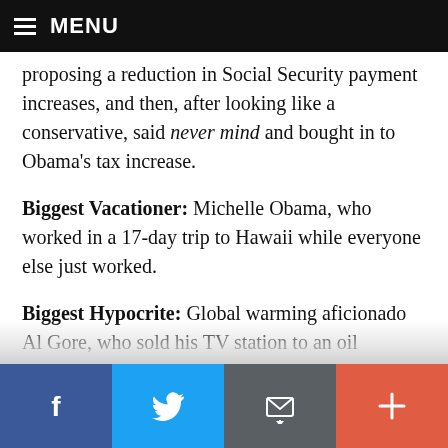MENU
proposing a reduction in Social Security payment increases, and then, after looking like a conservative, said never mind and bought in to Obama's tax increase.
Biggest Vacationer: Michelle Obama, who worked in a 17-day trip to Hawaii while everyone else just worked.
Biggest Hypocrite: Global warming aficionado Al Gore, who sold his TV station to an oil kingdom.
Second Biggest Hypocrite: Barack Obama, who
f  [twitter]  [email]  +